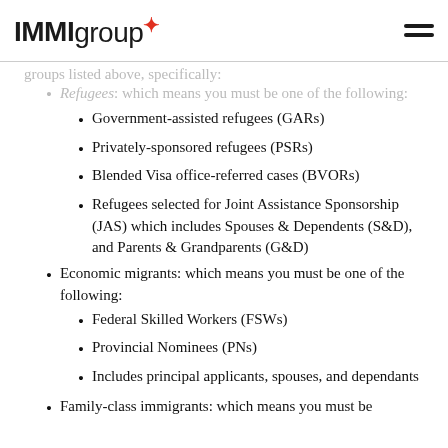IMMIgroup
groups listed above, specifically:
Refugees: which means you must be one of the following:
Government-assisted refugees (GARs)
Privately-sponsored refugees (PSRs)
Blended Visa office-referred cases (BVORs)
Refugees selected for Joint Assistance Sponsorship (JAS) which includes Spouses & Dependents (S&D), and Parents & Grandparents (G&D)
Economic migrants: which means you must be one of the following:
Federal Skilled Workers (FSWs)
Provincial Nominees (PNs)
Includes principal applicants, spouses, and dependants
Family-class immigrants: which means you must be